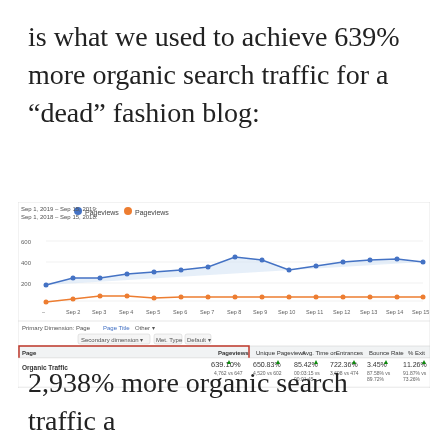is what we used to achieve 639% more organic search traffic for a “dead” fashion blog:
[Figure (line-chart): Google Analytics line chart comparing Pageviews for two date ranges. Blue line (Sep 1-15, 2019) shows values rising from ~300 to ~500+ range. Orange line (Sep 1-15, 2018) stays flat near 0-100. X-axis: Sep 1 through Sep 15. Y-axis: 0 to 600. Below the chart is a data table showing Organic Traffic row with Pageviews 639.10% (4,762 vs 647), Unique Pageviews 650.83% (4,520 vs 602), Avg. Time on Page 85.42%, Entrances 722.36% (3,698 vs 474), Bounce Rate 3.45% (87.58% vs 89.72%), % Exit 11.26% (91.87% vs 73.26%).]
2,938% more organic search traffic a